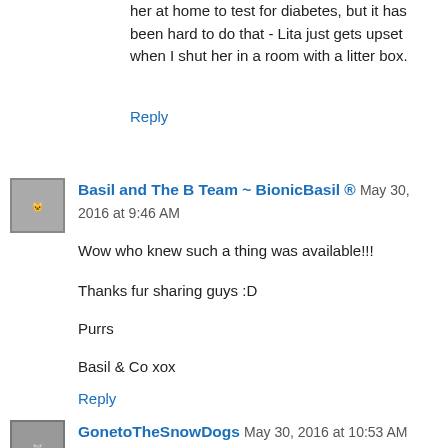her at home to test for diabetes, but it has been hard to do that - Lita just gets upset when I shut her in a room with a litter box.
Reply
[Figure (photo): Avatar image of Basil and The B Team - BionicBasil, showing cats]
Basil and The B Team ~ BionicBasil ® May 30, 2016 at 9:46 AM
Wow who knew such a thing was available!!!

Thanks fur sharing guys :D

Purrs

Basil & Co xox
Reply
[Figure (photo): Avatar image of GonetoTheSnowDogs, showing a dog]
GonetoTheSnowDogs May 30, 2016 at 10:53 AM
I saw this product on Shark Tank. I think I am one of the